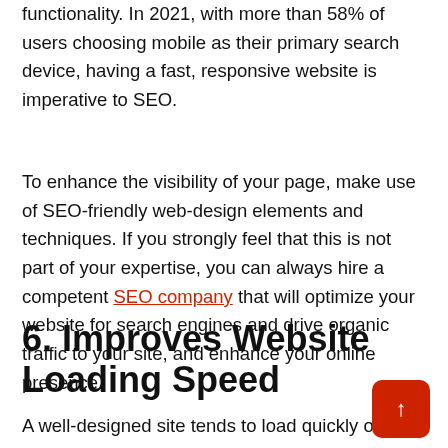functionality. In 2021, with more than 58% of users choosing mobile as their primary search device, having a fast, responsive website is imperative to SEO.
To enhance the visibility of your page, make use of SEO-friendly web-design elements and techniques. If you strongly feel that this is not part of your expertise, you can always hire a competent SEO company that will optimize your website for search engines and drive organic traffic to your site, and enhance your online presence.
6. Improves Website Loading Speed
A well-designed site tends to load quickly on all devices, including tablets, smartphones, and desktop computers. A